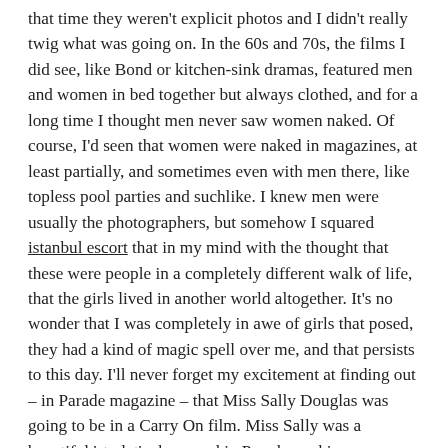that time they weren't explicit photos and I didn't really twig what was going on. In the 60s and 70s, the films I did see, like Bond or kitchen-sink dramas, featured men and women in bed together but always clothed, and for a long time I thought men never saw women naked. Of course, I'd seen that women were naked in magazines, at least partially, and sometimes even with men there, like topless pool parties and suchlike. I knew men were usually the photographers, but somehow I squared istanbul escort that in my mind with the thought that these were people in a completely different walk of life, that the girls lived in another world altogether. It's no wonder that I was completely in awe of girls that posed, they had a kind of magic spell over me, and that persists to this day. I'll never forget my excitement at finding out – in Parade magazine – that Miss Sally Douglas was going to be in a Carry On film. Miss Sally was a beautiful 'starlet' who posed in Parade, making me cum in my pants several times.Seeing Her lovely cleavage in that film, hearing Her talk, seeing Her walk, as I sat there open-mouthed, the spunk pumping into my pants, was heaven for